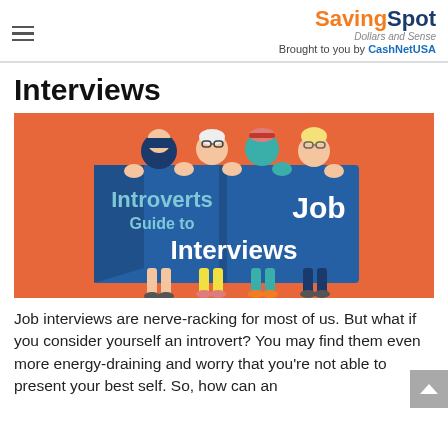SavingSpot Dollars and Sense — Brought to you by CashNetUSA
Interviews
[Figure (illustration): Illustration of four diverse cartoon characters peeking over a large blue book/banner that reads 'Introverts Guide to Job Interviews' on an orange background.]
Job interviews are nerve-racking for most of us. But what if you consider yourself an introvert? You may find them even more energy-draining and worry that you're not able to present your best self. So, how can an